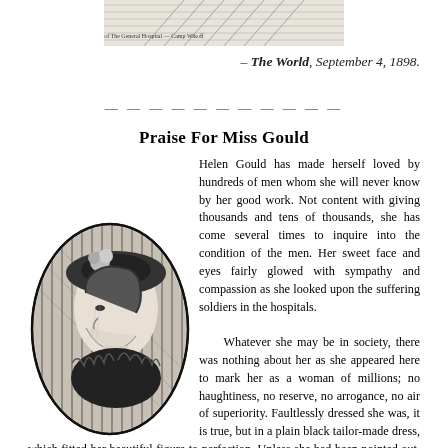[Figure (illustration): Top portion of a newspaper illustration showing the General Hospital at Camp Wikoff, partially visible at top of page with caption text.]
– The World, September 4, 1898.
Praise For Miss Gould
Helen Gould has made herself loved by hundreds of men whom she will never know by her good work. Not content with giving thousands and tens of thousands, she has come several times to inquire into the condition of the men. Her sweet face and eyes fairly glowed with sympathy and compassion as she looked upon the suffering soldiers in the hospitals. Whatever she may be in society, there was nothing about her as she appeared here to mark her as a woman of millions; no haughtiness, no reserve, no arrogance, no air of superiority. Faultlessly dressed she was, it is true, but in a plain black tailor-made dress, which fitted her beautiful figure to perfection. Unless she had been pointed out, no one would have suspected that she was any other than a womanly little woman, who was trying to do her part to save the lives of
[Figure (illustration): Oval portrait illustration of Miss Gould, a young woman wearing a hat with flowers, shown in profile facing left, rendered in black and white engraving style.]